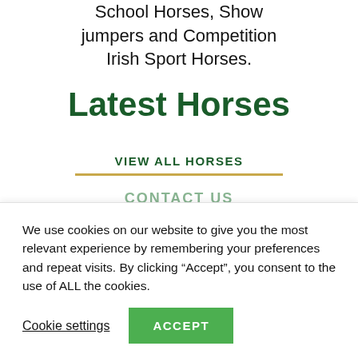School Horses, Show jumpers and Competition Irish Sport Horses.
Latest Horses
VIEW ALL HORSES
CONTACT US
We use cookies on our website to give you the most relevant experience by remembering your preferences and repeat visits. By clicking “Accept”, you consent to the use of ALL the cookies.
Cookie settings
ACCEPT